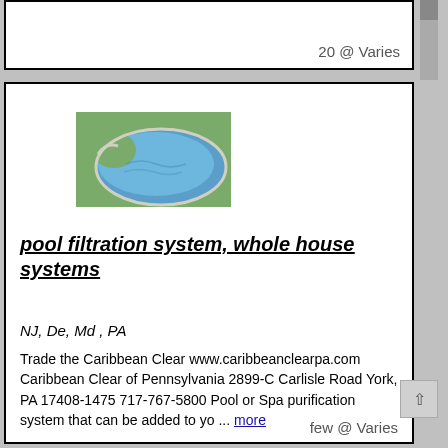20 @ Varies
[Figure (photo): Aerial or overhead view of a kidney-shaped blue swimming pool with white edging, surrounded by some greenery.]
pool filtration system, whole house systems
NJ, De, Md , PA
Trade the Caribbean Clear www.caribbeanclearpa.com Caribbean Clear of Pennsylvania 2899-C Carlisle Road York, PA 17408-1475 717-767-5800 Pool or Spa purification system that can be added to yo ... more
few @ Varies